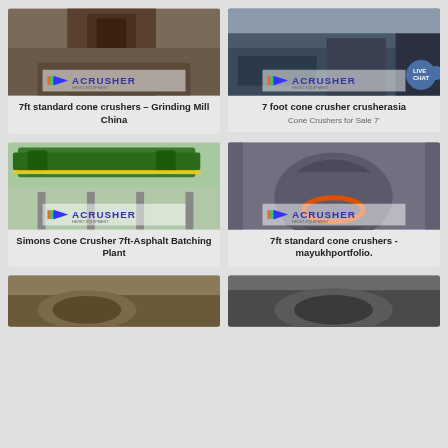[Figure (photo): Cone crusher machine photo with ACRUSHER logo overlay]
7ft standard cone crushers – Grinding Mill China
[Figure (photo): Quarry/mining site photo with ACRUSHER logo overlay and LIVE CHAT bubble]
7 foot cone crusher crusherasia
Cone Crushers for Sale 7'
[Figure (photo): Green industrial conveyor/batching plant with ACRUSHER logo overlay]
Simons Cone Crusher 7ft-Asphalt Batching Plant
[Figure (photo): Large grey cone crusher machine with ACRUSHER logo overlay]
7ft standard cone crushers - mayukhportfolio.
[Figure (photo): Partial view of industrial equipment at bottom left]
[Figure (photo): Partial view of industrial equipment at bottom right]